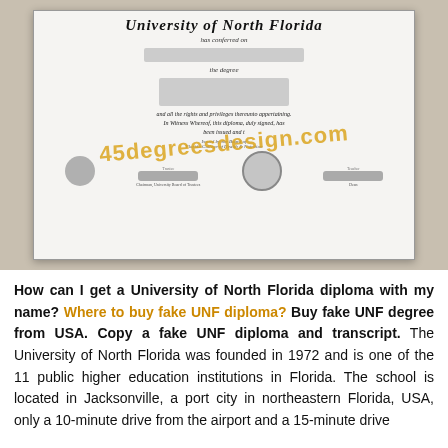[Figure (photo): Photograph of a University of North Florida diploma with a watermark reading '45degreesdesign.com' overlaid in gold/orange text. The diploma shows gothic text 'University of North Florida', 'has conferred on', a blurred recipient name, 'the degree', a blurred degree title, followed by ceremonial text about rights and privileges. The bottom section includes an eagle emblem, a compass seal, and signature blocks. The diploma is photographed on a wooden surface.]
How can I get a University of North Florida diploma with my name? Where to buy fake UNF diploma? Buy fake UNF degree from USA. Copy a fake UNF diploma and transcript. The University of North Florida was founded in 1972 and is one of the 11 public higher education institutions in Florida. The school is located in Jacksonville, a port city in northeastern Florida, USA, only a 10-minute drive from the airport and a 15-minute drive